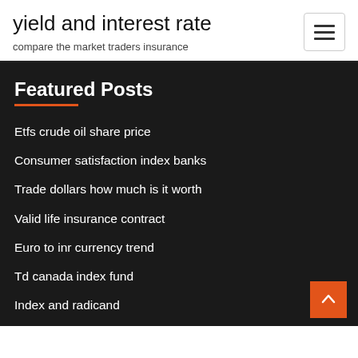yield and interest rate
compare the market traders insurance
Featured Posts
Etfs crude oil share price
Consumer satisfaction index banks
Trade dollars how much is it worth
Valid life insurance contract
Euro to inr currency trend
Td canada index fund
Index and radicand
Assignment of trademark canada